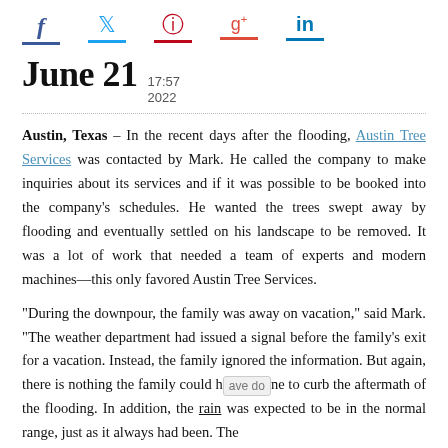[Figure (infographic): Social media sharing icons: Facebook (f), Twitter bird, Pinterest (P), Google+ (g+), LinkedIn (in), each with a colored underline bar beneath]
June 21  17:57  2022
Austin, Texas – In the recent days after the flooding, Austin Tree Services was contacted by Mark. He called the company to make inquiries about its services and if it was possible to be booked into the company's schedules. He wanted the trees swept away by flooding and eventually settled on his landscape to be removed. It was a lot of work that needed a team of experts and modern machines—this only favored Austin Tree Services.
“During the downpour, the family was away on vacation,” said Mark. “The weather department had issued a signal before the family’s exit for a vacation. Instead, the family ignored the information. But again, there is nothing the family could have done to curb the aftermath of the flooding. In addition, the rain was expected to be in the normal range, just as it always had been. The